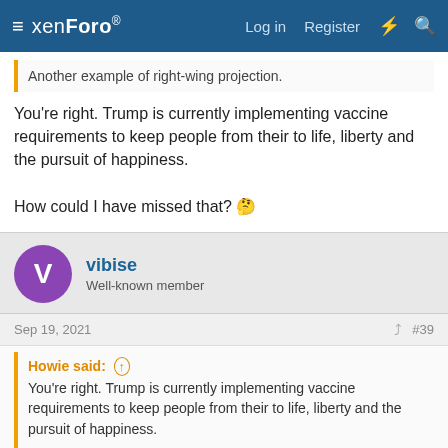xenForo | Log in | Register
Another example of right-wing projection.
You're right. Trump is currently implementing vaccine requirements to keep people from their to life, liberty and the pursuit of happiness.

How could I have missed that? 🤔
vibise
Well-known member
Sep 19, 2021   #39
Howie said: ⬆
You're right. Trump is currently implementing vaccine requirements to keep people from their to life, liberty and the pursuit of happiness.

How could I have missed that? 🤔